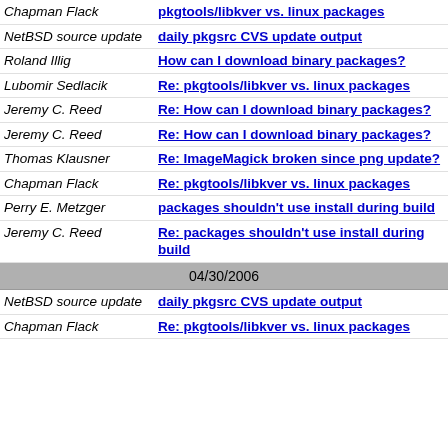Chapman Flack | pkgtools/libkver vs. linux packages
NetBSD source update | daily pkgsrc CVS update output
Roland Illig | How can I download binary packages?
Lubomir Sedlacik | Re: pkgtools/libkver vs. linux packages
Jeremy C. Reed | Re: How can I download binary packages?
Jeremy C. Reed | Re: How can I download binary packages?
Thomas Klausner | Re: ImageMagick broken since png update?
Chapman Flack | Re: pkgtools/libkver vs. linux packages
Perry E. Metzger | packages shouldn't use install during build
Jeremy C. Reed | Re: packages shouldn't use install during build
04/30/2006
NetBSD source update | daily pkgsrc CVS update output
Chapman Flack | Re: pkgtools/libkver vs. linux packages